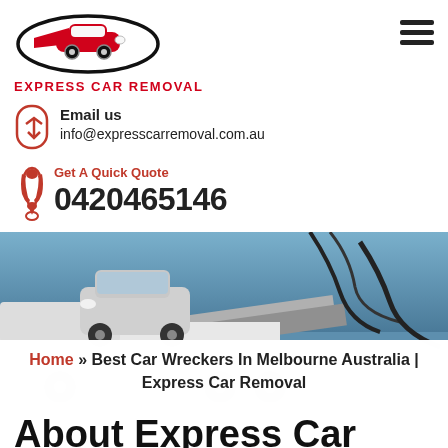[Figure (logo): Express Car Removal logo with car silhouette and swoosh, red and black colors, with text EXPRESS CAR REMOVAL below]
Email us
info@expresscarremoval.com.au
Get A Quick Quote
0420465146
[Figure (photo): A tow truck loading a silver SUV, with tow straps visible, blue sky background, with breadcrumb navigation overlay: Home » Best Car Wreckers In Melbourne Australia | Express Car Removal]
Home » Best Car Wreckers In Melbourne Australia | Express Car Removal
About Express Car...